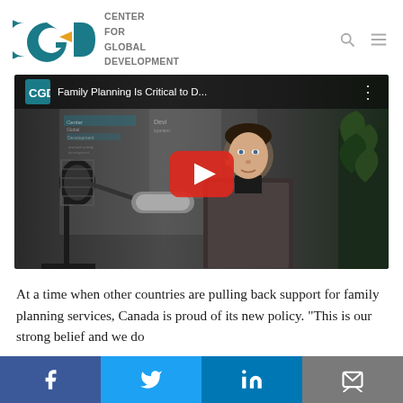[Figure (logo): CGD Center for Global Development logo with teal and gold letters]
[Figure (screenshot): YouTube video thumbnail showing woman being interviewed with microphone, title 'Family Planning Is Critical to D...' with CGD logo]
At a time when other countries are pulling back support for family planning services, Canada is proud of its new policy. “This is our strong belief and we do
[Figure (infographic): Social media sharing bar with Facebook, Twitter, LinkedIn, and email icons]